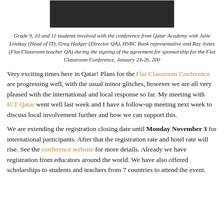[Figure (photo): Photo of students and staff at a table during the signing of a sponsorship agreement for the Flat Classroom Conference.]
Grade 9, 10 and 11 students involved with the conference from Qatar Academy with Julie Lindsay (Head of IT), Greg Hedger (Director QA), HSBC Bank representative and Ray Jones (Flat Classroom teacher QA) during the signing of the agreement for sponsorship for the Flat Classroom Conference, January 24-26, 200
Very exciting times here in Qatar! Plans for the Flat Classroom Conference are progressing well, with the usual minor glitches, however we are all very pleased with the international and local response so far. My meeting with ICT Qatar went well last week and I have a follow-up meeting next week to discuss local involvement further and how we can support this.
We are extending the registration closing date until Monday November 3 for international participants. After that the registration rate and hotel rate will rise. See the conference website for more details. Already we have registration from educators around the world. We have also offered scholarships to students and teachers from 7 countries to attend the event.